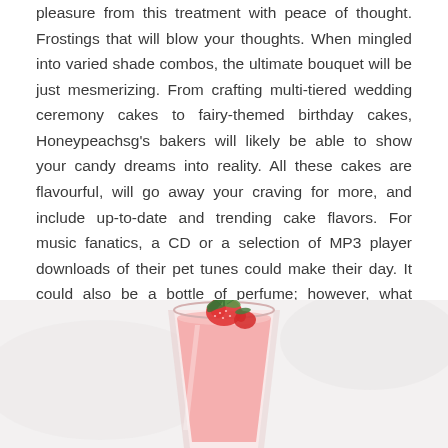pleasure from this treatment with peace of thought. Frostings that will blow your thoughts. When mingled into varied shade combos, the ultimate bouquet will be just mesmerizing. From crafting multi-tiered wedding ceremony cakes to fairy-themed birthday cakes, Honeypeachsg's bakers will likely be able to show your candy dreams into reality. All these cakes are flavourful, will go away your craving for more, and include up-to-date and trending cake flavors. For music fanatics, a CD or a selection of MP3 player downloads of their pet tunes could make their day. It could also be a bottle of perfume; however, what always may also help make a birthday memorable are those little touches.
[Figure (photo): A strawberry smoothie or milkshake in a glass, garnished with a strawberry and green leaves, on a white/light gray surface.]